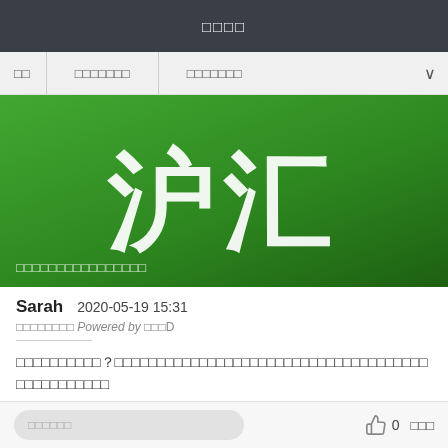□□□□
□□　□□□□□□　□□□□□□　∨
[Figure (screenshot): Green banner with large white Chinese characters and subtitle text]
Sarah   2020-05-19 15:31
□□□□□□□□ Powered by □□□D
□□□□□□□□□□？□□□□□□□□□□□□□□□□□□□□□□□□□□□□□□□□□□□□□□□□□□□□□□□□
□□□□□□□　0　□□□